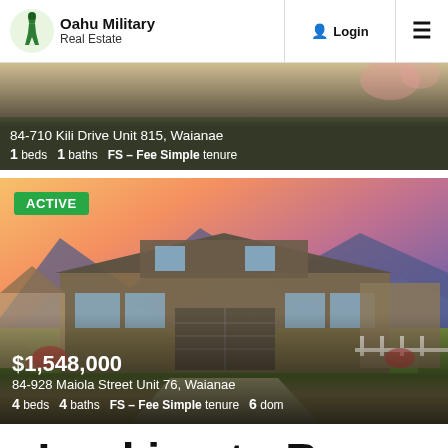Oahu Military Real Estate | Login | Menu
[Figure (photo): Partially visible real estate listing photo of 84-710 Kili Drive Unit 815, Waianae with property details overlay]
84-710 Kili Drive Unit 815, Waianae
1 beds  1 baths  FS - Fee Simple tenure
[Figure (photo): Exterior photo of a modern single-story home with two-car garage, manicured lawn, and dramatic sunset/mountain backdrop. ACTIVE badge shown.]
$1,548,000
84-928 Maiola Street Unit 76, Waianae
4 beds  4 baths  FS - Fee Simple tenure  6 dom
Looking to Buy a Home in